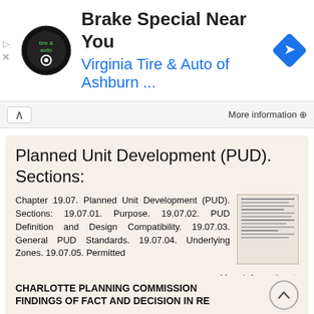[Figure (infographic): Advertisement banner for Virginia Tire & Auto of Ashburn with logo, title 'Brake Special Near You', and navigation arrow icon]
More information →
Planned Unit Development (PUD). Sections:
Chapter 19.07. Planned Unit Development (PUD). Sections: 19.07.01. Purpose. 19.07.02. PUD Definition and Design Compatibility. 19.07.03. General PUD Standards. 19.07.04. Underlying Zones. 19.07.05. Permitted
More information →
CHARLOTTE PLANNING COMMISSION FINDINGS OF FACT AND DECISION IN RE